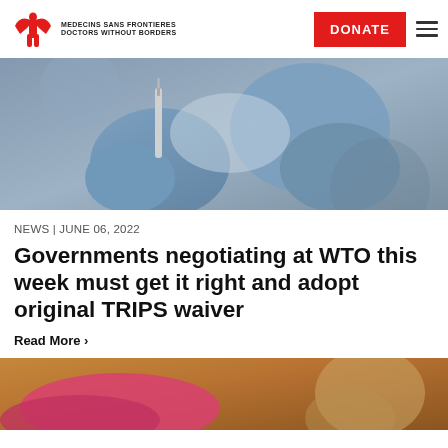MEDECINS SANS FRONTIERES DOCTORS WITHOUT BORDERS | DONATE
[Figure (photo): Close-up of gloved hands holding a syringe, preparing a vaccine injection]
NEWS | JUNE 06, 2022
Governments negotiating at WTO this week must get it right and adopt original TRIPS waiver
Read More >
[Figure (photo): Partial view of a person wearing pink, bottom of page]